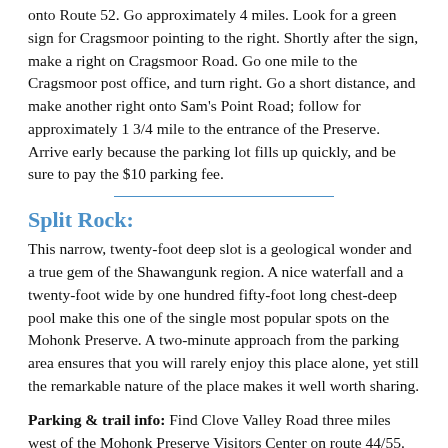onto Route 52. Go approximately 4 miles. Look for a green sign for Cragsmoor pointing to the right. Shortly after the sign, make a right on Cragsmoor Road. Go one mile to the Cragsmoor post office, and turn right. Go a short distance, and make another right onto Sam's Point Road; follow for approximately 1 3/4 mile to the entrance of the Preserve. Arrive early because the parking lot fills up quickly, and be sure to pay the $10 parking fee.
Split Rock:
This narrow, twenty-foot deep slot is a geological wonder and a true gem of the Shawangunk region. A nice waterfall and a twenty-foot wide by one hundred fifty-foot long chest-deep pool make this one of the single most popular spots on the Mohonk Preserve. A two-minute approach from the parking area ensures that you will rarely enjoy this place alone, yet still the remarkable nature of the place makes it well worth sharing.
Parking & trail info: Find Clove Valley Road three miles west of the Mohonk Preserve Visitors Center on route 44/55. Follow Clove Valley for a mile and a half to entrance to parking lot on left. Note that the Mohonk Preserve requires either a membership or a day-use fee from visitors. Split